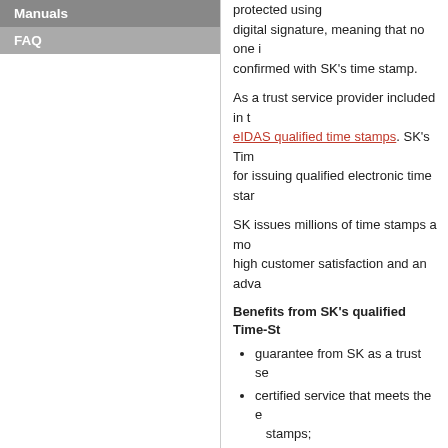Manuals
FAQ
protected using digital signature, meaning that no one i... confirmed with SK's time stamp.
As a trust service provider included in t... eIDAS qualified time stamps. SK's Tim... for issuing qualified electronic time sta...
SK issues millions of time stamps a mo... high customer satisfaction and an adva...
Benefits from SK's qualified Time-St...
guarantee from SK as a trust se...
certified service that meets the e... stamps;
digital signatures in ASIC-E form...
non-repudiation of data and doc...
Increase the reliability of your busin...
References